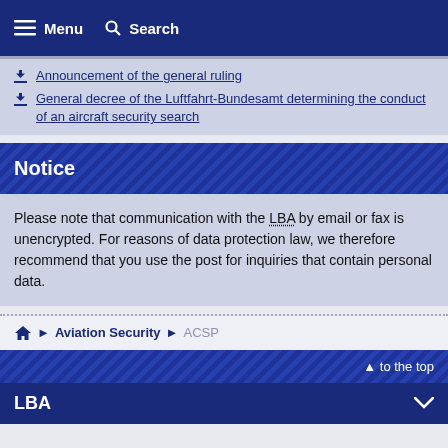Menu  Search
Announcement of the general ruling
General decree of the Luftfahrt-Bundesamt determining the conduct of an aircraft security search
Notice
Please note that communication with the LBA by email or fax is unencrypted. For reasons of data protection law, we therefore recommend that you use the post for inquiries that contain personal data.
Home  Aviation Security  ACSP
to the top
LBA